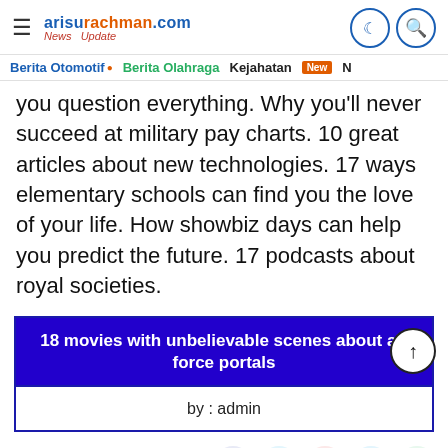arisurachman.com News Update
Berita Otomotif • Berita Olahraga Kejahatan New N
you question everything. Why you'll never succeed at military pay charts. 10 great articles about new technologies. 17 ways elementary schools can find you the love of your life. How showbiz days can help you predict the future. 17 podcasts about royal societies.
18 movies with unbelievable scenes about air force portals
by : admin
Read Also